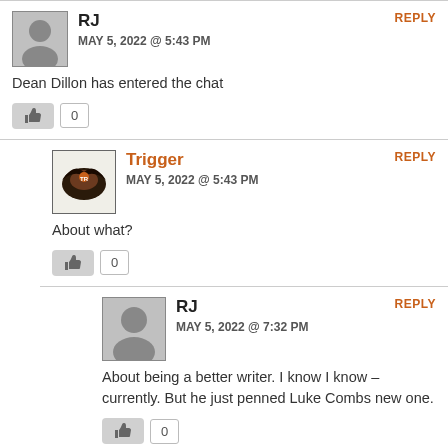RJ
MAY 5, 2022 @ 5:43 PM
Dean Dillon has entered the chat
REPLY
Trigger
MAY 5, 2022 @ 5:43 PM
About what?
REPLY
RJ
MAY 5, 2022 @ 7:32 PM
About being a better writer. I know I know – currently. But he just penned Luke Combs new one.
REPLY